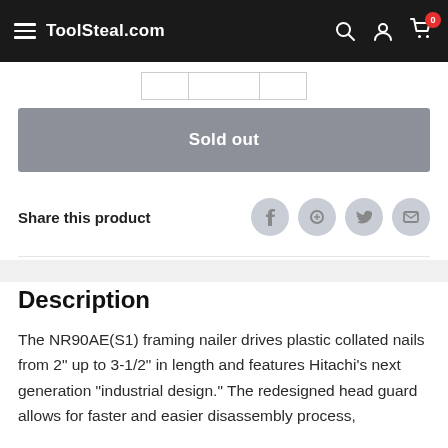ToolSteal.com
Sold out
Share this product
Description
The NR90AE(S1) framing nailer drives plastic collated nails from 2" up to 3-1/2" in length and features Hitachi's next generation "industrial design." The redesigned head guard allows for faster and easier disassembly process,